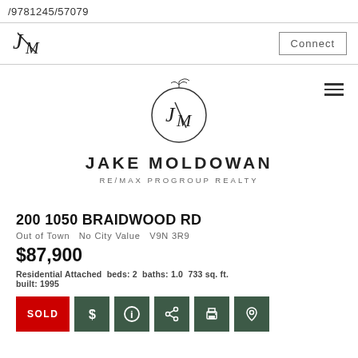/9781245/57079
[Figure (logo): JM stylized logo with italic J/M initials in top nav bar]
Connect
[Figure (logo): Jake Moldowan JM circular logo with leaf/branch decoration above the letters]
JAKE MOLDOWAN
RE/MAX PROGROUP REALTY
200 1050 BRAIDWOOD RD
Out of Town   No City Value   V9N 3R9
$87,900
Residential Attached  beds: 2  baths: 1.0  733 sq. ft.  built: 1995